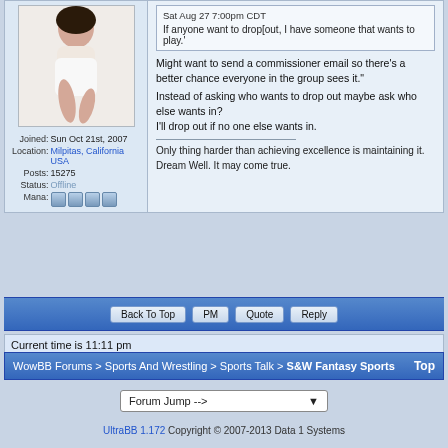[Figure (photo): Avatar photo of a woman sitting]
Joined: Sun Oct 21st, 2007
Location: Milpitas, California USA
Posts: 15275
Status: Offline
Mana:
Sat Aug 27 7:00pm CDT
If anyone want to drop[out, I have someone that wants to play.'
Might want to send a commissioner email so there's a better chance everyone in the group sees it."
Instead of asking who wants to drop out maybe ask who else wants in?
I'll drop out if no one else wants in.
Only thing harder than achieving excellence is maintaining it.
Dream Well. It may come true.
Back To Top   PM   Quote   Reply
Current time is 11:11 pm
WowBB Forums > Sports And Wrestling > Sports Talk > S&W Fantasy Sports   Top
Forum Jump -->
UltraBB 1.172 Copyright © 2007-2013 Data 1 Systems